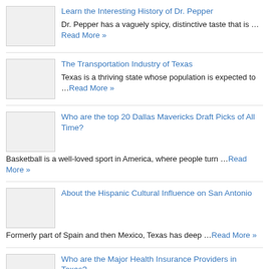Learn the Interesting History of Dr. Pepper — Dr. Pepper has a vaguely spicy, distinctive taste that is …Read More »
The Transportation Industry of Texas — Texas is a thriving state whose population is expected to …Read More »
Who are the top 20 Dallas Mavericks Draft Picks of All Time? — Basketball is a well-loved sport in America, where people turn …Read More »
About the Hispanic Cultural Influence on San Antonio — Formerly part of Spain and then Mexico, Texas has deep …Read More »
Who are the Major Health Insurance Providers in Texas? — Getting health insurance, particularly in Texas, is something that any …Read More »
Who are the Major Car Insurance Providers in…